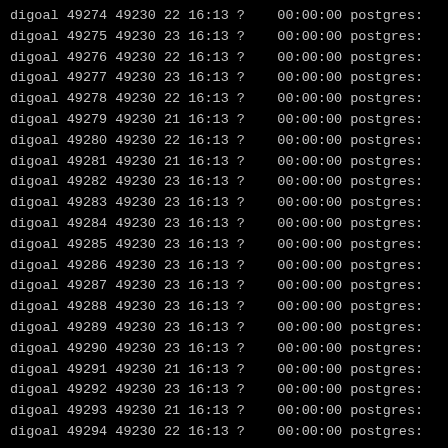digoal 49274 49230 22 16:13 ?    00:00:00 postgres:
digoal 49275 49230 23 16:13 ?    00:00:00 postgres:
digoal 49276 49230 22 16:13 ?    00:00:00 postgres:
digoal 49277 49230 23 16:13 ?    00:00:00 postgres:
digoal 49278 49230 22 16:13 ?    00:00:00 postgres:
digoal 49279 49230 21 16:13 ?    00:00:00 postgres:
digoal 49280 49230 22 16:13 ?    00:00:00 postgres:
digoal 49281 49230 21 16:13 ?    00:00:00 postgres:
digoal 49282 49230 23 16:13 ?    00:00:00 postgres:
digoal 49283 49230 23 16:13 ?    00:00:00 postgres:
digoal 49284 49230 23 16:13 ?    00:00:00 postgres:
digoal 49285 49230 23 16:13 ?    00:00:00 postgres:
digoal 49286 49230 23 16:13 ?    00:00:00 postgres:
digoal 49287 49230 23 16:13 ?    00:00:00 postgres:
digoal 49288 49230 23 16:13 ?    00:00:00 postgres:
digoal 49289 49230 23 16:13 ?    00:00:00 postgres:
digoal 49290 49230 23 16:13 ?    00:00:00 postgres:
digoal 49291 49230 21 16:13 ?    00:00:00 postgres:
digoal 49292 49230 23 16:13 ?    00:00:00 postgres:
digoal 49293 49230 21 16:13 ?    00:00:00 postgres:
digoal 49294 49230 22 16:13 ?    00:00:00 postgres: